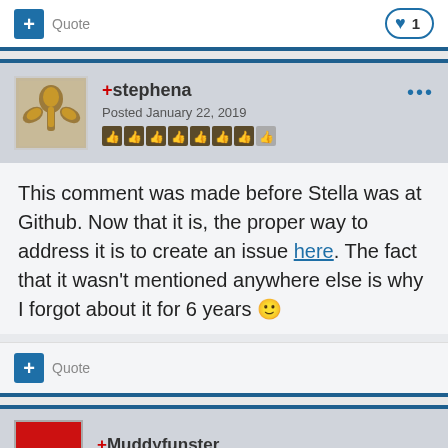+ Quote  ❤ 1
+stephena
Posted January 22, 2019
This comment was made before Stella was at Github. Now that it is, the proper way to address it is to create an issue here. The fact that it wasn't mentioned anywhere else is why I forgot about it for 6 years 🙂
+ Quote
+Muddyfunster
Posted January 22, 2019